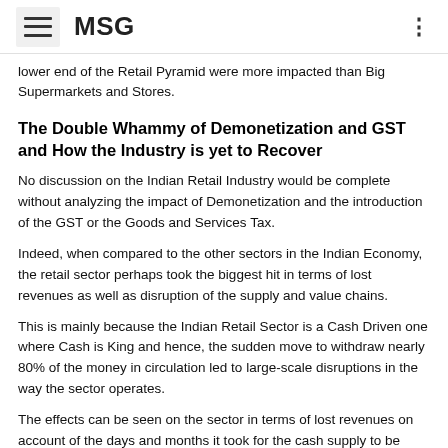MSG
lower end of the Retail Pyramid were more impacted than Big Supermarkets and Stores.
The Double Whammy of Demonetization and GST and How the Industry is yet to Recover
No discussion on the Indian Retail Industry would be complete without analyzing the impact of Demonetization and the introduction of the GST or the Goods and Services Tax.
Indeed, when compared to the other sectors in the Indian Economy, the retail sector perhaps took the biggest hit in terms of lost revenues as well as disruption of the supply and value chains.
This is mainly because the Indian Retail Sector is a Cash Driven one where Cash is King and hence, the sudden move to withdraw nearly 80% of the money in circulation led to large-scale disruptions in the way the sector operates.
The effects can be seen on the sector in terms of lost revenues on account of the days and months it took for the cash supply to be restored, the disruption to the livelihoods of the Millions of owners, traders, supplier, and employees who make up the workforce in the